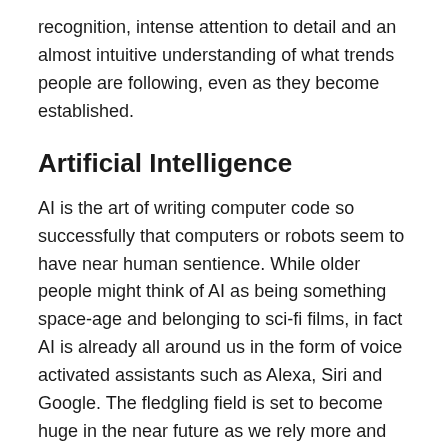recognition, intense attention to detail and an almost intuitive understanding of what trends people are following, even as they become established.
Artificial Intelligence
AI is the art of writing computer code so successfully that computers or robots seem to have near human sentience. While older people might think of AI as being something space-age and belonging to sci-fi films, in fact AI is already all around us in the form of voice activated assistants such as Alexa, Siri and Google. The fledgling field is set to become huge in the near future as we rely more and more on our devices to lead our lives more comfortably and safely.